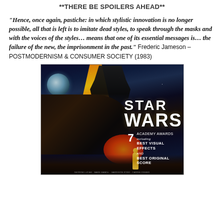**THERE BE SPOILERS AHEAD**
“Hence, once again, pastiche: in which stylistic innovation is no longer possible, all that is left is to imitate dead styles, to speak through the masks and with the voices of the styles… means that one of its essential messages is… the failure of the new, the imprisonment in the past.” Frederic Jameson – POSTMODERNISM & CONSUMER SOCIETY (1983)
[Figure (photo): Star Wars movie poster showing Darth Vader looming above, characters including Luke Skywalker, Princess Leia, Han Solo, and Chewbacca in the foreground, with the Star Wars logo, and text noting 7 Academy Awards including Best Visual Effects and Best Original Score]